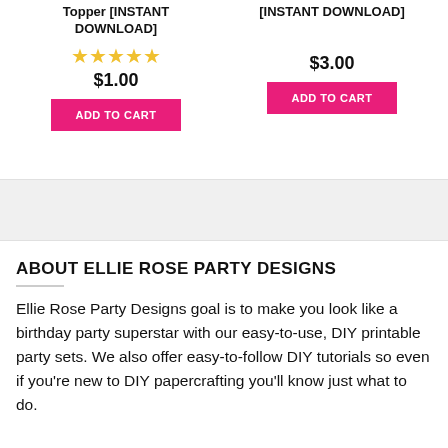Topper [INSTANT DOWNLOAD]
★★★★★
$1.00
ADD TO CART
[INSTANT DOWNLOAD] $3.00
ADD TO CART
ABOUT ELLIE ROSE PARTY DESIGNS
Ellie Rose Party Designs goal is to make you look like a birthday party superstar with our easy-to-use, DIY printable party sets.  We also offer easy-to-follow DIY tutorials so even if you're new to DIY papercrafting you'll know just what to do.